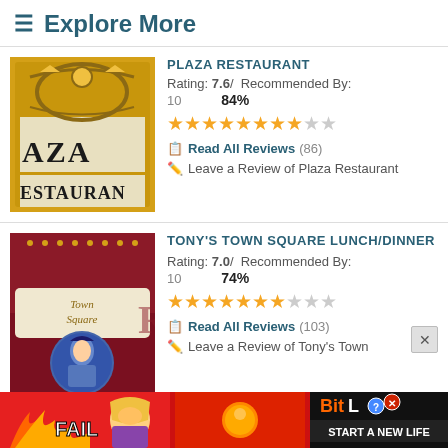≡ Explore More
PLAZA RESTAURANT
Rating: 7.6 / Recommended By:
10   84%
[Figure (photo): Photo of Plaza Restaurant sign with gold decorative lettering]
Read All Reviews (86)
Leave a Review of Plaza Restaurant
TONY'S TOWN SQUARE LUNCH/DINNER
Rating: 7.0 / Recommended By:
10   74%
[Figure (photo): Photo of Tony's Town Square restaurant sign with decorative styling]
Read All Reviews (103)
Leave a Review of Tony's Town
[Figure (infographic): BitLife advertisement banner - START A NEW LIFE]